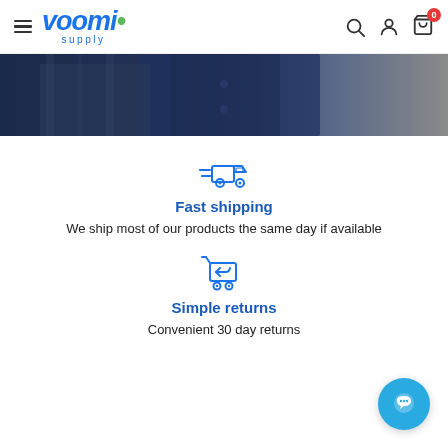voomi supply — navigation header with search, account, and cart icons
[Figure (photo): Hero banner image showing a person in a dark navy shirt, partial view of torso]
[Figure (illustration): Fast shipping icon: a delivery truck with speed lines]
Fast shipping
We ship most of our products the same day if available
[Figure (illustration): Simple returns icon: a shopping cart with a return arrow]
Simple returns
Convenient 30 day returns